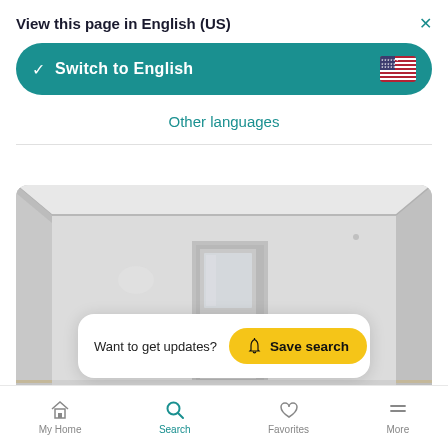View this page in English (US)
Switch to English
Other languages
[Figure (photo): Empty white room interior with door, ceiling molding, and light wood floor]
Want to get updates?  Save search
My Home  Search  Favorites  More